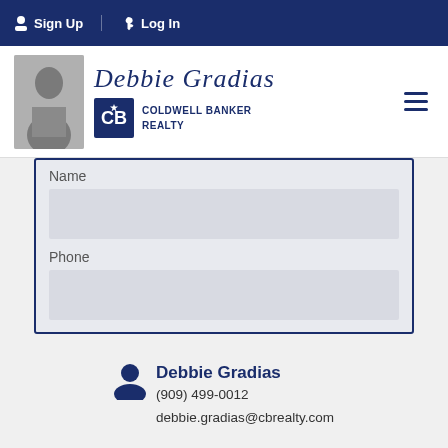Sign Up   Log In
[Figure (logo): Debbie Gradias Coldwell Banker Realty logo with agent photo]
Name
Phone
Debbie Gradias
(909) 499-0012
debbie.gradias@cbrealty.com